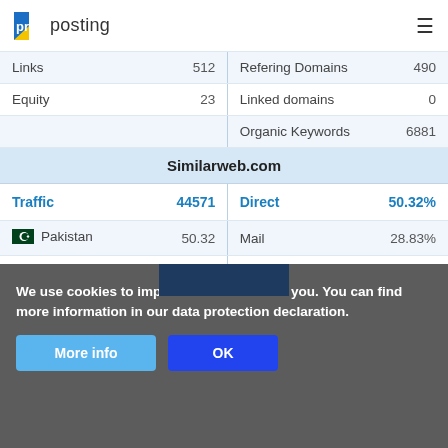pr posting
|  |  |  |  |  |
| --- | --- | --- | --- | --- |
| Links | 512 | | | Refering Domains | 490 |
| Equity | 23 | | | Linked domains | 0 |
|  |  | | | Organic Keywords | 6881 |
| Similarweb.com |  |  |  |  |
| Traffic | 44571 | | | Direct | 50.32% |
| Pakistan | 50.32 | | | Mail | 28.83% |
| Ukraine | 28.83 | | | Search | 20.85% |
| United Kingdom | 20.85 | | | Social | 0% |
| Tanzania | 0 | | | Referrals | 0% |
|  |  | | | PaidReferrals | 0% |
We use cookies to improve our service for you. You can find more information in our data protection declaration.
More info
OK